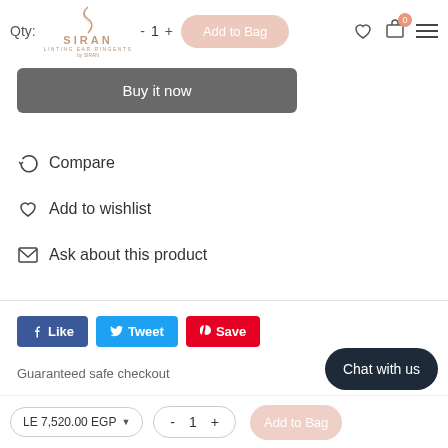Qty: - 1 + SIRAN | Add to Cart | wishlist | cart (0) | menu
Buy it now
Compare
Add to wishlist
Ask about this product
Like  Tweet  Save
Guaranteed safe checkout
LE 7,520.00 EGP  -  1  +  Chat with us  Add to Bag